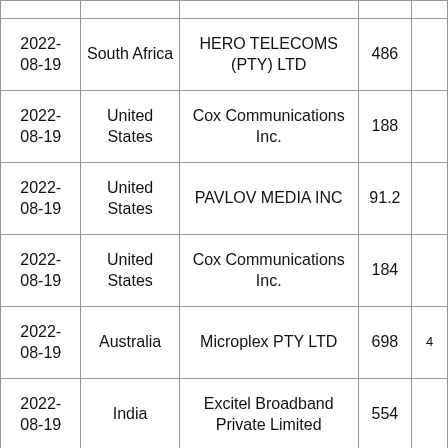| Date | Country | Organization | Value |  |
| --- | --- | --- | --- | --- |
| 2022-08-19 | South Africa | HERO TELECOMS (PTY) LTD | 486 |  |
| 2022-08-19 | United States | Cox Communications Inc. | 188 |  |
| 2022-08-19 | United States | PAVLOV MEDIA INC | 91.2 |  |
| 2022-08-19 | United States | Cox Communications Inc. | 184 |  |
| 2022-08-19 | Australia | Microplex PTY LTD | 698 | 4 |
| 2022-08-19 | India | Excitel Broadband Private Limited | 554 |  |
| 2022- | United |  |  |  |